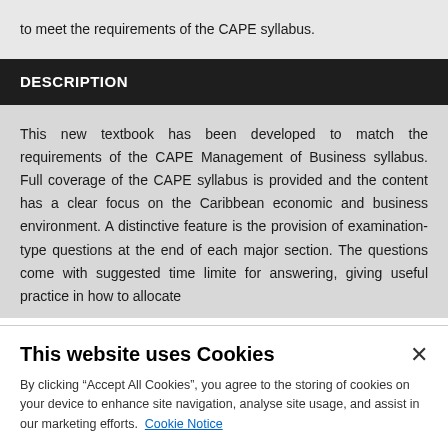to meet the requirements of the CAPE syllabus.
DESCRIPTION
This new textbook has been developed to match the requirements of the CAPE Management of Business syllabus. Full coverage of the CAPE syllabus is provided and the content has a clear focus on the Caribbean economic and business environment. A distinctive feature is the provision of examination-type questions at the end of each major section. The questions come with suggested time limite for answering, giving useful practice in how to allocate
This website uses Cookies

By clicking “Accept All Cookies”, you agree to the storing of cookies on your device to enhance site navigation, analyse site usage, and assist in our marketing efforts. Cookie Notice